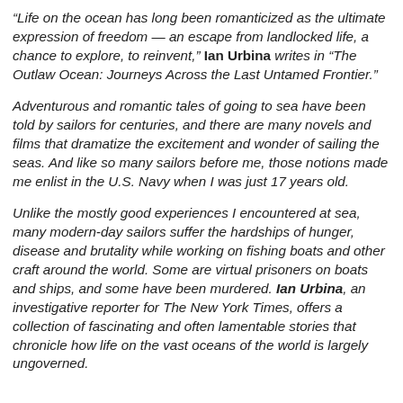“Life on the ocean has long been romanticized as the ultimate expression of freedom — an escape from landlocked life, a chance to explore, to reinvent,” Ian Urbina writes in “The Outlaw Ocean: Journeys Across the Last Untamed Frontier.”
Adventurous and romantic tales of going to sea have been told by sailors for centuries, and there are many novels and films that dramatize the excitement and wonder of sailing the seas. And like so many sailors before me, those notions made me enlist in the U.S. Navy when I was just 17 years old.
Unlike the mostly good experiences I encountered at sea, many modern-day sailors suffer the hardships of hunger, disease and brutality while working on fishing boats and other craft around the world. Some are virtual prisoners on boats and ships, and some have been murdered. Ian Urbina, an investigative reporter for The New York Times, offers a collection of fascinating and often lamentable stories that chronicle how life on the vast oceans of the world is largely ungoverned.